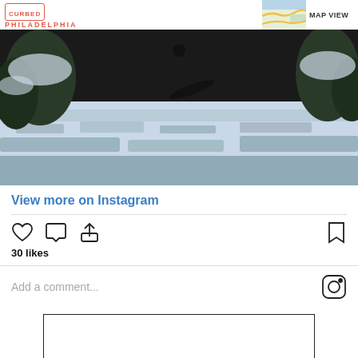CURBED PHILADELPHIA | MAP VIEW
[Figure (photo): Snow-covered outdoor scene with trees and deep snow on the ground, person visible in background]
View more on Instagram
30 likes
Add a comment...
[Figure (other): Empty advertisement box with black border]